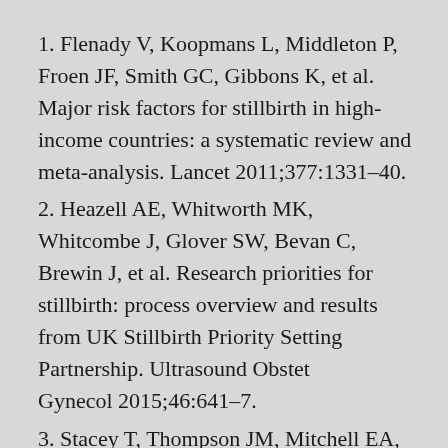1. Flenady V, Koopmans L, Middleton P, Froen JF, Smith GC, Gibbons K, et al. Major risk factors for stillbirth in high-income countries: a systematic review and meta-analysis. Lancet 2011;377:1331–40.
2. Heazell AE, Whitworth MK, Whitcombe J, Glover SW, Bevan C, Brewin J, et al. Research priorities for stillbirth: process overview and results from UK Stillbirth Priority Setting Partnership. Ultrasound Obstet Gynecol 2015;46:641–7.
3. Stacey T, Thompson JM, Mitchell EA, Ekeroma AJ, Zuccollo JM, McCowan LM. Association between maternal sleep practices and risk of late stillbirth: a case-control study. BMJ 2011;342:d3403.